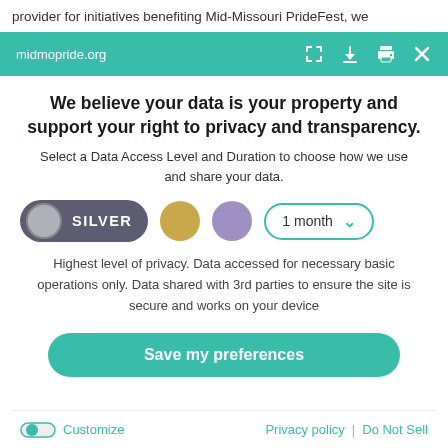provider for initiatives benefiting Mid-Missouri PrideFest, we
midmopride.org
We believe your data is your property and support your right to privacy and transparency.
Select a Data Access Level and Duration to choose how we use and share your data.
[Figure (infographic): Privacy level selector with SILVER pill toggle, gold circle, purple circle, and '1 month' dropdown]
Highest level of privacy. Data accessed for necessary basic operations only. Data shared with 3rd parties to ensure the site is secure and works on your device
Save my preferences
Customize   Privacy policy  |  Do Not Sell